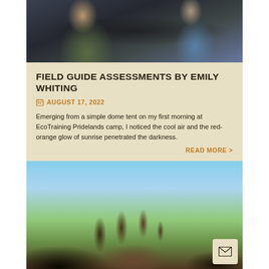[Figure (photo): Photo of people inside a vehicle, viewed from inside the car showing dashboard and passengers]
FIELD GUIDE ASSESSMENTS BY EMILY WHITING
AUGUST 17, 2022
Emerging from a simple dome tent on my first morning at EcoTraining Pridelands camp, I noticed the cool air and the red-orange glow of sunrise penetrated the darkness.
READ MORE >
[Figure (photo): Outdoor landscape photo with sparse trees against a sky background, savanna environment]